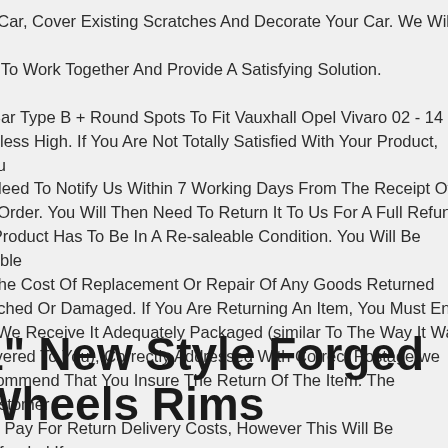ur Car, Cover Existing Scratches And Decorate Your Car. We Will Be ad To Work Together And Provide A Satisfying Solution. ll Bar Type B + Round Spots To Fit Vauxhall Opel Vivaro 02 - 14 ainless High. If You Are Not Totally Satisfied With Your Product, You ll Need To Notify Us Within 7 Working Days From The Receipt Of ur Order. You Will Then Need To Return It To Us For A Full Refund. e Product Has To Be In A Re-saleable Condition. You Will Be Liable r The Cost Of Replacement Or Repair Of Any Goods Returned ratched Or Damaged. If You Are Returning An Item, You Must Ensu at We Receive It Adequately Packaged (similar To The Way It Was elivered To You), Correctly Addressed With Correct Postage.we ecommend That You Insure The Return Of The Item. The Customer ust Pay For Return Delivery Costs, However This Will Be Refunded If eason For Return Is No Fault Of Customer. The Customer Must Infor s Of Any Returns Within 7 Working Days Of Receipt Of Goods. Pleas eck Goods Upon.
1" New Style Forged Wheels Rims